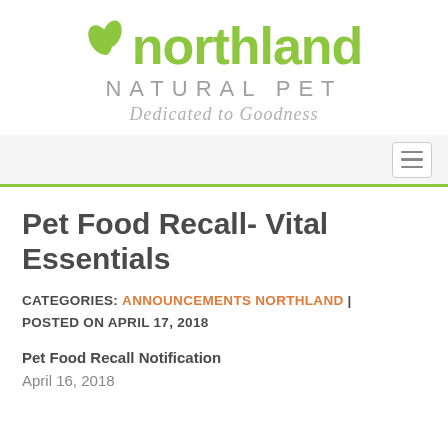[Figure (logo): Northland Natural Pet logo with green leaf icon, bold green 'northland' text, grey 'NATURAL PET' subtitle, and italic grey 'Dedicated to Goodness' tagline]
Pet Food Recall- Vital Essentials
CATEGORIES: ANNOUNCEMENTS NORTHLAND | POSTED ON APRIL 17, 2018
Pet Food Recall Notification
April 16, 2018